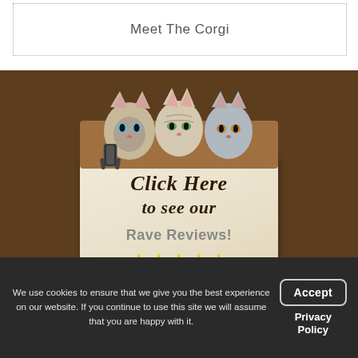Meet The Corgi
[Figure (illustration): Three cats peeking over a paper note with a binder clip, with text: Click Here to see our Rave Reviews! with 5 gold stars]
[Figure (infographic): Yellow FAQ box with brick wall illustration on left and text: Frequently Asked Questions on right]
We use cookies to ensure that we give you the best experience on our website. If you continue to use this site we will assume that you are happy with it.
Accept
Privacy Policy